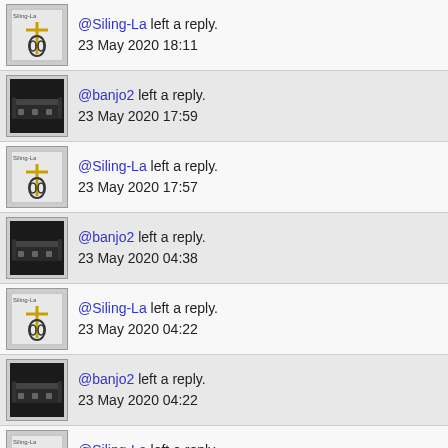@Siling-La left a reply. 23 May 2020 18:11
@banjo2 left a reply. 23 May 2020 17:59
@Siling-La left a reply. 23 May 2020 17:57
@banjo2 left a reply. 23 May 2020 04:38
@Siling-La left a reply. 23 May 2020 04:22
@banjo2 left a reply. 23 May 2020 04:22
@Siling-La left a reply. 23 May 2020 03:43
@Siling-La created this request. 23 May 2020 03:43
[Figure (other): Navigation buttons: home icon and back arrow icon]
Nintendo 3DS is ™ Nintendo Co. Ltd. This website is ©2009-2022 HullBreach Studios. All rights reserved. Members are responsible for their own content. No account information will be given to third-parties without your consent.